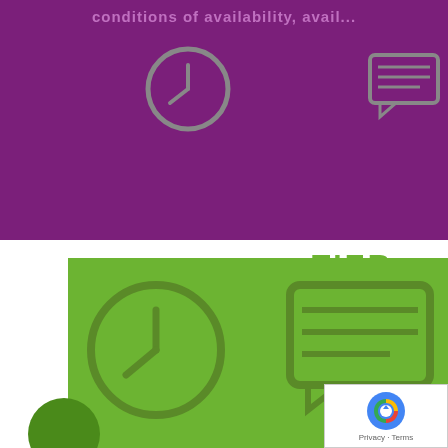[Figure (infographic): Purple banner section with partial text 'conditions of availability, avail...' and two icons: a clock icon and a speech bubble icon, shown in muted purple/grey outline style on dark purple background.]
TIER
[Figure (infographic): Green section with a clock icon, percentage '99.99%', a green dot bullet, speech bubble icon on right, and partial text 'all components fu... dual power inpu... copie...' A reCAPTCHA badge overlay appears bottom right with Privacy - Terms label.]
99.99%
all components fu
dual power inpu
copie
Privacy · Terms